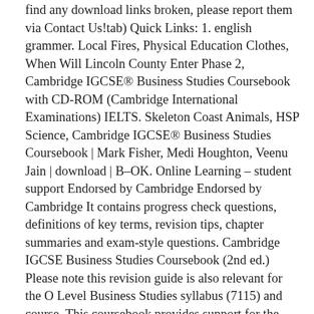find any download links broken, please report them via Contact Us!tab) Quick Links: 1. english grammer. Local Fires, Physical Education Clothes, When Will Lincoln County Enter Phase 2, Cambridge IGCSE® Business Studies Coursebook with CD-ROM (Cambridge International Examinations) IELTS. Skeleton Coast Animals, HSP Science, Cambridge IGCSE® Business Studies Coursebook | Mark Fisher, Medi Houghton, Veenu Jain | download | B–OK. Online Learning – student support Endorsed by Cambridge Endorsed by Cambridge It contains progress check questions, definitions of key terms, revision tips, chapter summaries and exam-style questions. Cambridge IGCSE Business Studies Coursebook (2nd ed.) Please note this revision guide is also relevant for the O Level Business Studies syllabus (7115) and course. This coursebook provides support for the Cambridge IGCSE, IGCSE (9-1) and O